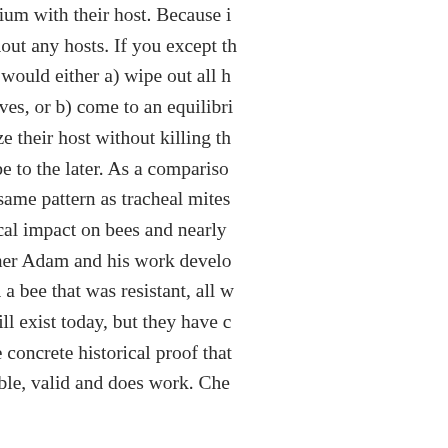equilibrium with their host. Because i die without any hosts. If you except th devices would either a) wipe out all h themselves, or b) come to an equilibri parasitize their host without killing th subscribe to the later. As a compariso see the same pattern as tracheal mites parasitical impact on bees and nearly to Brother Adam and his work develo to breed a bee that was resistant, all w mites still exist today, but they have c we have concrete historical proof that reasonable, valid and does work. Che
Liked by 1 person
[Figure (photo): Avatar photo of a person outdoors with foliage background]
Thoughtscapism says: April 12, 2017 at 7:16 pm